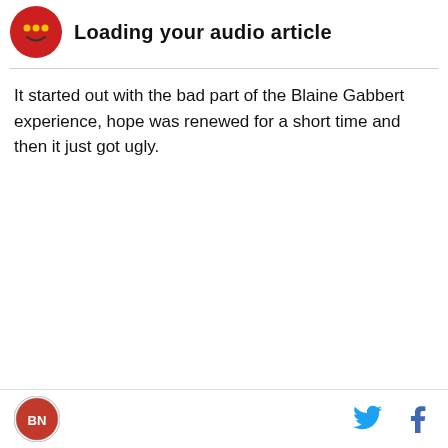[Figure (logo): Red circular podcast/audio player icon with yellow dots on red background]
Loading your audio article
It started out with the bad part of the Blaine Gabbert experience, hope was renewed for a short time and then it just got ugly.
[Figure (logo): Small circular sports team logo at bottom left]
[Figure (logo): Twitter bird icon in blue]
[Figure (logo): Facebook f icon in blue]